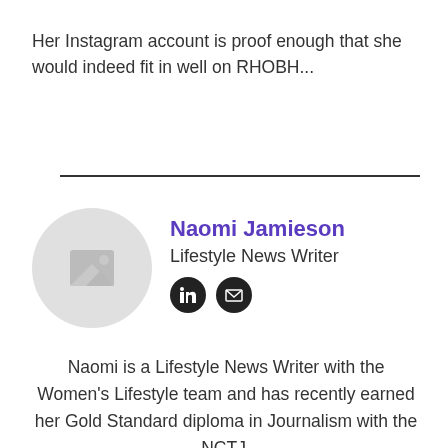Her Instagram account is proof enough that she would indeed fit in well on RHOBH...
[Figure (illustration): Horizontal divider line]
[Figure (photo): Author avatar placeholder circle with image icon]
Naomi Jamieson
Lifestyle News Writer
[Figure (other): LinkedIn and email social icons]
Naomi is a Lifestyle News Writer with the Women's Lifestyle team and has recently earned her Gold Standard diploma in Journalism with the NCTJ.